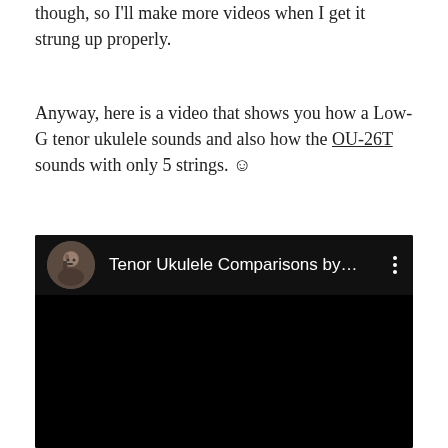though, so I'll make more videos when I get it strung up properly.
Anyway, here is a video that shows you how a Low-G tenor ukulele sounds and also how the OU-26T sounds with only 5 strings. ☺
[Figure (screenshot): Embedded YouTube video thumbnail showing a dark/black screen with a channel header. The header shows a circular avatar photo of a bearded man holding a ukulele, followed by the title 'Tenor Ukulele Comparisons by...' and a three-dot menu icon. The video area below is entirely black.]